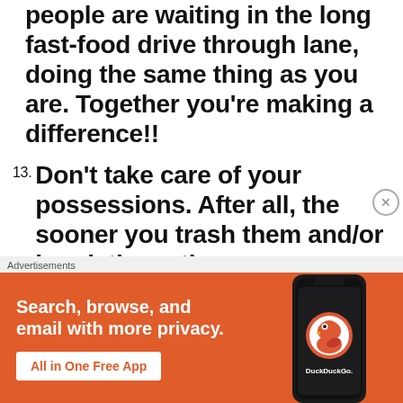people are waiting in the long fast-food drive through lane, doing the same thing as you are. Together you're making a difference!!
13. Don't take care of your possessions. After all, the sooner you trash them and/or break them, the sooner you can buy new ones. Reassure
Advertisements
[Figure (infographic): DuckDuckGo advertisement banner with orange background. Left side shows text: 'Search, browse, and email with more privacy.' with a white 'All in One Free App' button. Right side shows a smartphone displaying the DuckDuckGo logo and app icon. Bottom right has 'DuckDuckGo.' text.]